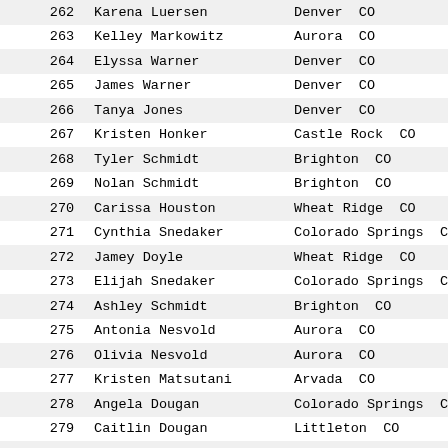| # | Name | City | State |
| --- | --- | --- | --- |
| 262 | Karena Luersen | Denver | CO |
| 263 | Kelley Markowitz | Aurora | CO |
| 264 | Elyssa Warner | Denver | CO |
| 265 | James Warner | Denver | CO |
| 266 | Tanya Jones | Denver | CO |
| 267 | Kristen Honker | Castle Rock | CO |
| 268 | Tyler Schmidt | Brighton | CO |
| 269 | Nolan Schmidt | Brighton | CO |
| 270 | Carissa Houston | Wheat Ridge | CO |
| 271 | Cynthia Snedaker | Colorado Springs | C |
| 272 | Jamey Doyle | Wheat Ridge | CO |
| 273 | Elijah Snedaker | Colorado Springs | C |
| 274 | Ashley Schmidt | Brighton | CO |
| 275 | Antonia Nesvold | Aurora | CO |
| 276 | Olivia Nesvold | Aurora | CO |
| 277 | Kristen Matsutani | Arvada | CO |
| 278 | Angela Dougan | Colorado Springs | C |
| 279 | Caitlin Dougan | Littleton | CO |
| 280 | Marion Weston | Colorado Springs | C |